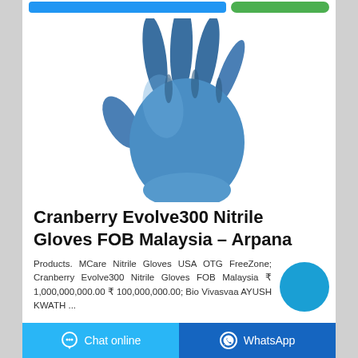[Figure (photo): Blue nitrile disposable glove product photo on white background]
Cranberry Evolve300 Nitrile Gloves FOB Malaysia – Arpana
Products. MCare Nitrile Gloves USA OTG FreeZone; Cranberry Evolve300 Nitrile Gloves FOB Malaysia ₹ 1,000,000,000.00 ₹ 100,000,000.00; Bio Vivasvaa AYUSH KWATH ...
[Figure (other): Blue circular chat button overlay]
Chat online   WhatsApp